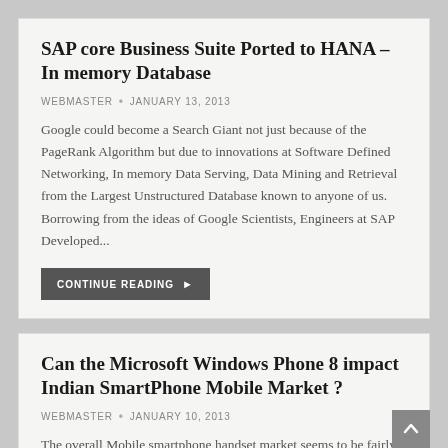SAP core Business Suite Ported to HANA – In memory Database
WEBMASTER • JANUARY 13, 2013
Google could become a Search Giant not just because of the PageRank Algorithm but due to innovations at Software Defined Networking, In memory Data Serving, Data Mining and Retrieval from the Largest Unstructured Database known to anyone of us. Borrowing from the ideas of Google Scientists, Engineers at SAP Developed...
CONTINUE READING ▶
Can the Microsoft Windows Phone 8 impact Indian SmartPhone Mobile Market ?
WEBMASTER • JANUARY 10, 2013
The overall Mobile smartphone handset market seems to be fairly distributed in terms of market shares with Android sweeping the non-Apple market, can the advent of Windows Phone 8 could impact market shares and is something worth